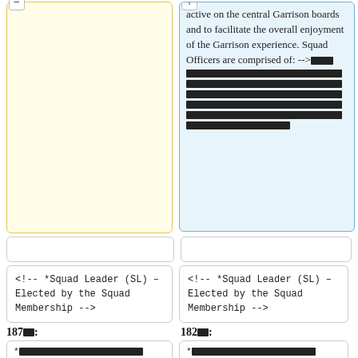active on the central Garrison boards and to facilitate the overall enjoyment of the Garrison experience. Squad Officers are comprised of: --> [redacted link] [redacted lines]
<!-- *Squad Leader (SL) – Elected by the Squad Membership -->
<!-- *Squad Leader (SL) – Elected by the Squad Membership -->
187[redacted]:
182[redacted]:
* [redacted] [redacted]
* [redacted] [redacted]